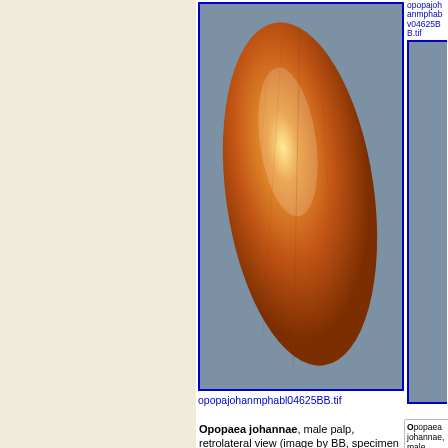[Figure (photo): Macro photograph of Opopaea johannae wing/dorsal structure, orange-brown coloration on grey background, bordered with blue]
opopajohanmphabl04625BB.tif
[Figure (photo): Partial view of another Opopaea johannae specimen image, right column top]
opopajohanmphabv04625BB.tif
Opopaea johannae, male palp, retrolateral view (image by BB, specimen ID: ---04625)
[Figure (photo): Macro photograph of Opopaea johannae male palp, retrolateral view, showing orange-brown palp structures on white background]
opopajohanmppalr04625BB.tif
Opopaea johannae, male abdomen, ventral view (image by BB, specimen ID: ---48259)
[Figure (photo): Black and white macro photograph of Opopaea johannae male abdomen, ventral view, showing oval abdomen with visible internal structures]
opopajohanmsabdv48259BB.tif
O... e... B...